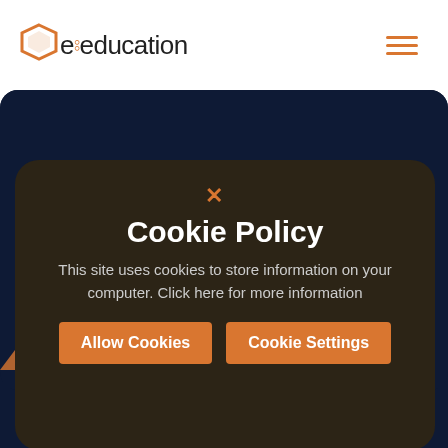[Figure (logo): e4education logo with orange hexagon icon and hamburger menu icon]
[Figure (screenshot): Dark navy background section of the e4education website, partially obscured by cookie consent modal]
Cookie Policy
This site uses cookies to store information on your computer. Click here for more information
Allow Cookies
Cookie Settings